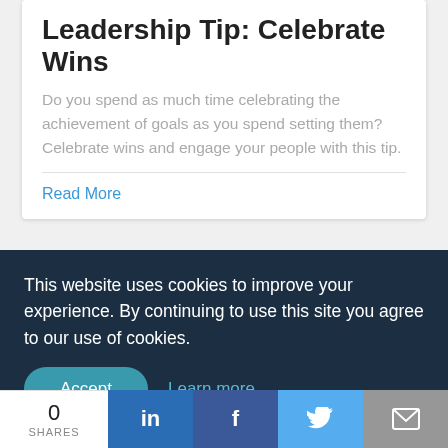Leadership Tip: Celebrate Wins
Do you spend as much time celebrating the achievement of goals as you spend setting them? Celebrate wins and engage your people with this tip.
Read More
[Figure (photo): Basketball on a surface with dark background, partially visible]
This website uses cookies to improve your experience. By continuing to use this site you agree to our use of cookies.
Accept
Learn more
Leadership Tip: Keep a
0 SHARES
in f Twitter Email share buttons